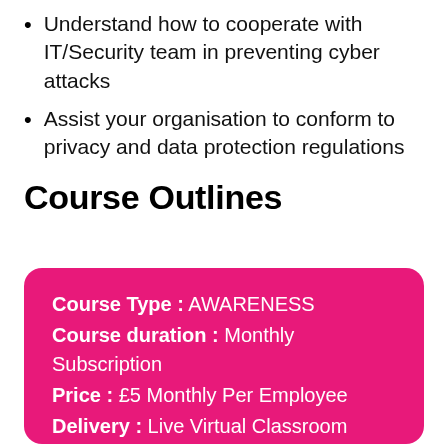Understand how to cooperate with IT/Security team in preventing cyber attacks
Assist your organisation to conform to privacy and data protection regulations
Course Outlines
Course Type : AWARENESS
Course duration : Monthly Subscription
Price : £5 Monthly Per Employee
Delivery : Live Virtual Classroom
Course Material : Short